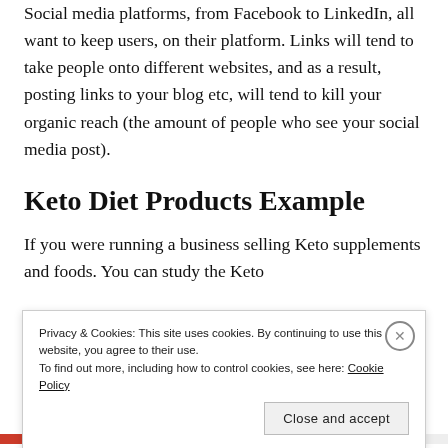Social media platforms, from Facebook to LinkedIn, all want to keep users, on their platform. Links will tend to take people onto different websites, and as a result, posting links to your blog etc, will tend to kill your organic reach (the amount of people who see your social media post).
Keto Diet Products Example
If you were running a business selling Keto supplements and foods. You can study the Keto
Privacy & Cookies: This site uses cookies. By continuing to use this website, you agree to their use.
To find out more, including how to control cookies, see here: Cookie Policy
Close and accept